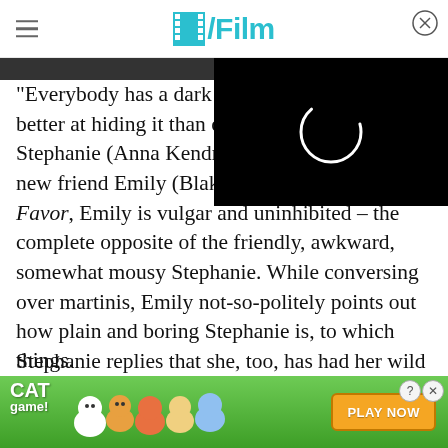/Film
[Figure (screenshot): Black video player overlay with loading spinner (white arc circle) on the right side of the page header area]
"Everybody has a dark side. Some people are better at hiding it than others." So says Stephanie (Anna Kendrick), while drunk, to her new friend Emily (Blake Lively). In A Simple Favor, Emily is vulgar and uninhibited – the complete opposite of the friendly, awkward, somewhat mousy Stephanie. While conversing over martinis, Emily not-so-politely points out how plain and boring Stephanie is, to which Stephanie replies that she, too, has had her wild moments. Not letting the moment slip away, Emily dares Stephanie to tell her the wil... en things.
[Figure (screenshot): Cat Game mobile app advertisement banner with colorful cartoon cats and 'PLAY NOW' button]